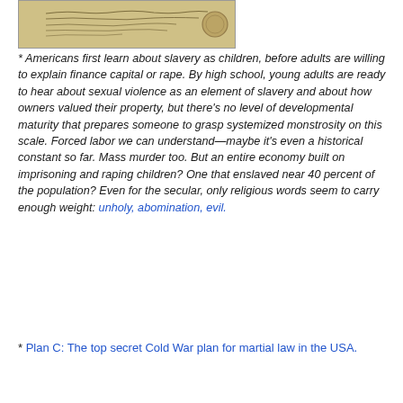[Figure (photo): A small cropped photograph of a handwritten note or document, with cursive writing visible on aged/yellowed paper.]
* Americans first learn about slavery as children, before adults are willing to explain finance capital or rape. By high school, young adults are ready to hear about sexual violence as an element of slavery and about how owners valued their property, but there's no level of developmental maturity that prepares someone to grasp systemized monstrosity on this scale. Forced labor we can understand—maybe it's even a historical constant so far. Mass murder too. But an entire economy built on imprisoning and raping children? One that enslaved near 40 percent of the population? Even for the secular, only religious words seem to carry enough weight: unholy, abomination, evil.
* Plan C: The top secret Cold War plan for martial law in the USA.